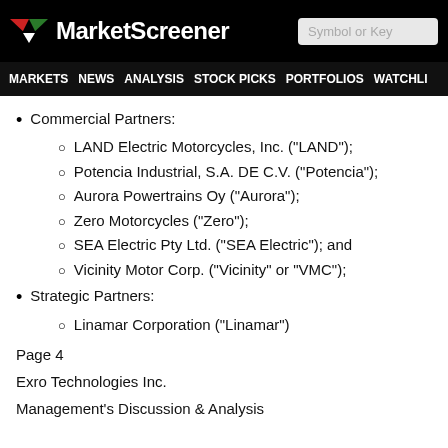MarketScreener | Symbol or Key
Commercial Partners:
LAND Electric Motorcycles, Inc. ("LAND");
Potencia Industrial, S.A. DE C.V. ("Potencia");
Aurora Powertrains Oy ("Aurora");
Zero Motorcycles ("Zero");
SEA Electric Pty Ltd. ("SEA Electric"); and
Vicinity Motor Corp. ("Vicinity" or "VMC");
Strategic Partners:
Linamar Corporation ("Linamar")
Page 4
Exro Technologies Inc.
Management's Discussion & Analysis